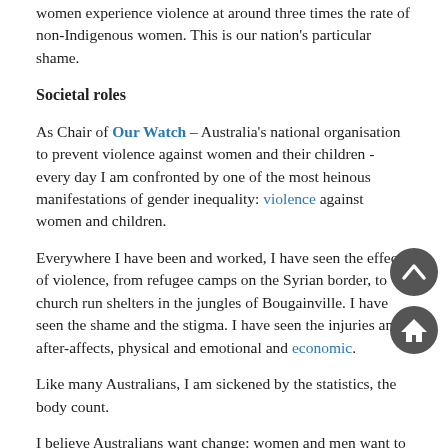women experience violence at around three times the rate of non-Indigenous women. This is our nation's particular shame.
Societal roles
As Chair of Our Watch – Australia's national organisation to prevent violence against women and their children - every day I am confronted by one of the most heinous manifestations of gender inequality: violence against women and children.
Everywhere I have been and worked, I have seen the effects of violence, from refugee camps on the Syrian border, to church run shelters in the jungles of Bougainville. I have seen the shame and the stigma. I have seen the injuries and after-affects, physical and emotional and economic.
Like many Australians, I am sickened by the statistics, the body count.
I believe Australians want change: women and men want to know what can they do? My answer is simple: do something.
We all have a role to play.